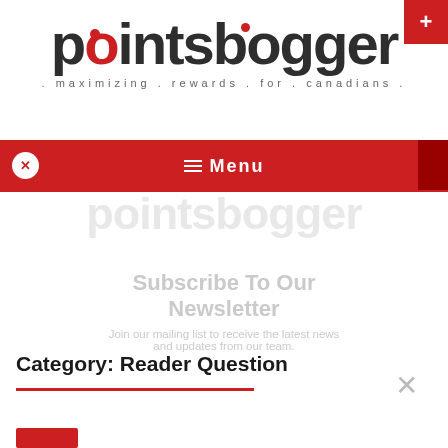[Figure (logo): pointsbogger logo with tagline: maximizing . rewards . for . canadians .]
Menu
[Figure (logo): pointsbogger watermark logo (semi-transparent gray)]
Subscribe To Our Newsletter
Join our mailing list to receive the latest news and updates from our team.
Category: Reader Question